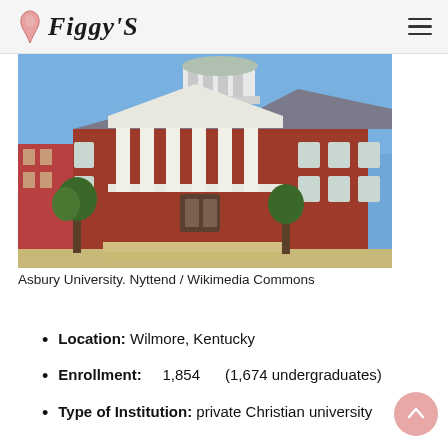Figgy'S
[Figure (photo): Photograph of a red-brick university building with white columned portico and cupola at Asbury University, blue sky background]
Asbury University. Nyttend / Wikimedia Commons
Location: Wilmore, Kentucky
Enrollment: 1,854 (1,674 undergraduates)
Type of Institution: private Christian university